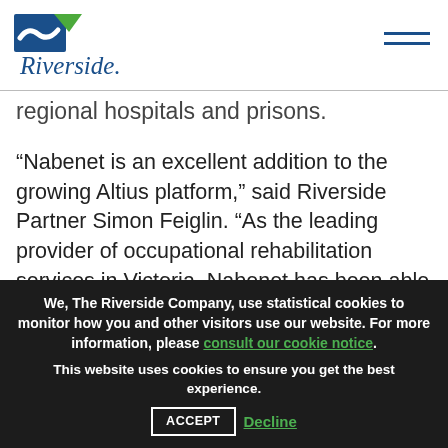[Figure (logo): Riverside company logo with blue and green icon and italic blue Riverside text]
regional hospitals and prisons.
“Nabenet is an excellent addition to the growing Altius platform,” said Riverside Partner Simon Feiglin. “As the leading provider of occupational rehabilitation services in Victoria, Nabenet has been able to continuously enhance their services and add locations over the years in this expanding market.”
We, The Riverside Company, use statistical cookies to monitor how you and other visitors use our website. For more information, please consult our cookie notice. This website uses cookies to ensure you get the best experience. ACCEPT Decline